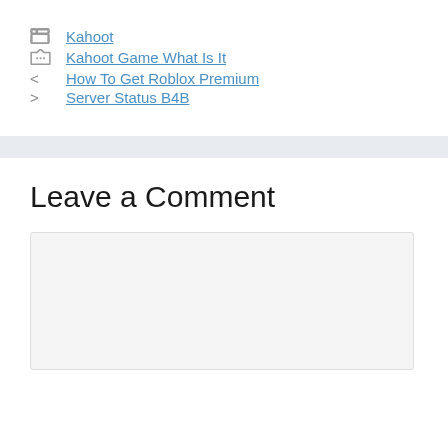Kahoot
Kahoot Game What Is It
How To Get Roblox Premium
Server Status B4B
Leave a Comment